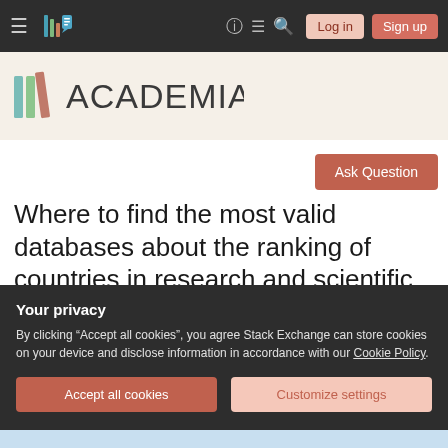Academia Stack Exchange navigation bar with hamburger menu, logo, help, chat, search icons, Log in and Sign up buttons
[Figure (logo): Academia Stack Exchange logo with colored bar lines and ACADEMIA text]
Ask Question
Where to find the most valid databases about the ranking of countries in research and scientific production?
Your privacy
By clicking "Accept all cookies", you agree Stack Exchange can store cookies on your device and disclose information in accordance with our Cookie Policy.
Accept all cookies
Customize settings